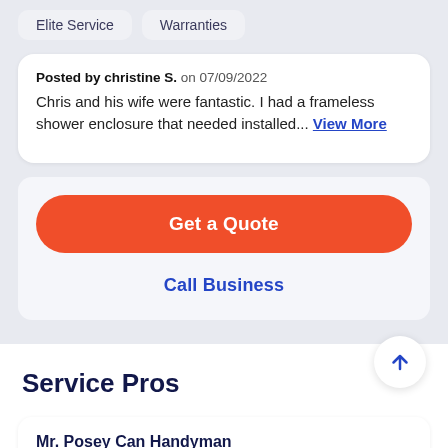Elite Service   Warranties
Posted by christine S. on 07/09/2022
Chris and his wife were fantastic. I had a frameless shower enclosure that needed installed... View More
Get a Quote
Call Business
Service Pros
Mr. Posey Can Handyman